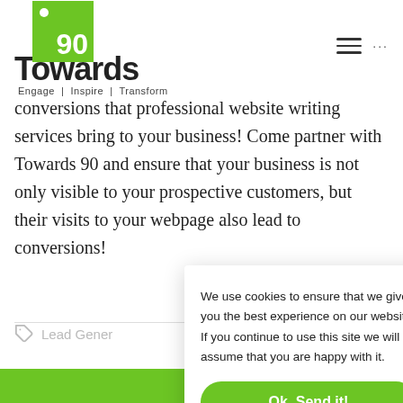[Figure (logo): Towards 90 logo: green square with dot and '90', bold 'Towards' text, tagline 'Engage | Inspire | Transform']
conversions that professional website writing services bring to your business! Come partner with Towards 90 and ensure that your business is not only visible to your prospective customers, but their visits to your webpage also lead to conversions!
Lead Gener
[Figure (screenshot): Cookie consent popup: 'We use cookies to ensure that we give you the best experience on our website. If you continue to use this site we will assume that you are happy with it.' with 'Ok, Send it!' button]
[Figure (photo): Bottom green strip with partial image]